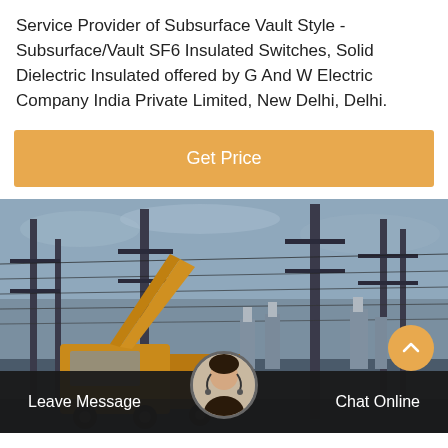Service Provider of Subsurface Vault Style - Subsurface/Vault SF6 Insulated Switches, Solid Dielectric Insulated offered by G And W Electric Company India Private Limited, New Delhi, Delhi.
[Figure (other): Orange 'Get Price' button banner]
[Figure (photo): Photograph of an electrical substation with utility poles, overhead power lines, and a yellow utility truck/crane vehicle in the foreground under a cloudy sky.]
Leave Message   Chat Online